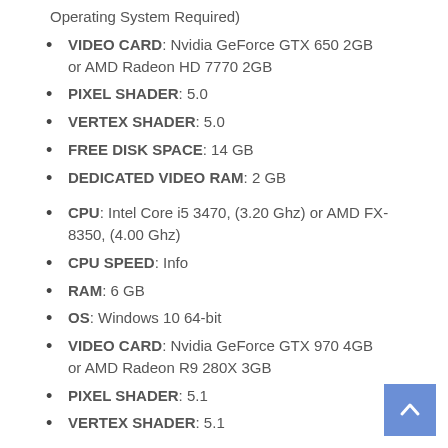Operating System Required)
VIDEO CARD: Nvidia GeForce GTX 650 2GB or AMD Radeon HD 7770 2GB
PIXEL SHADER: 5.0
VERTEX SHADER: 5.0
FREE DISK SPACE: 14 GB
DEDICATED VIDEO RAM: 2 GB
CPU: Intel Core i5 3470, (3.20 Ghz) or AMD FX-8350, (4.00 Ghz)
CPU SPEED: Info
RAM: 6 GB
OS: Windows 10 64-bit
VIDEO CARD: Nvidia GeForce GTX 970 4GB or AMD Radeon R9 280X 3GB
PIXEL SHADER: 5.1
VERTEX SHADER: 5.1